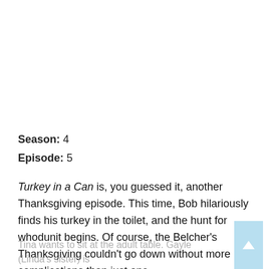Season: 4
Episode: 5
Turkey in a Can is, you guessed it, another Thanksgiving episode. This time, Bob hilariously finds his turkey in the toilet, and the hunt for whodunit begins. Of course, the Belcher's Thanksgiving couldn't go down without more complications than just one.
Tina wants to sit at the adult table. Gayle (Linda's sister) is